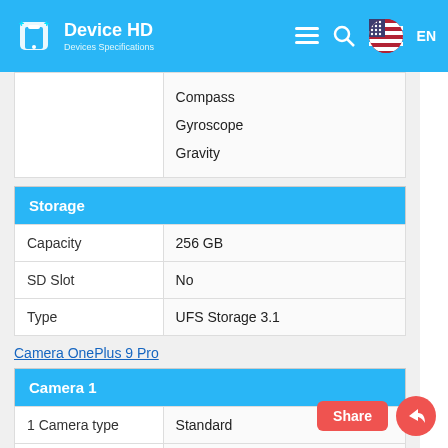Device HD - Devices Specifications | EN
|  |  |
| --- | --- |
|  | Compass
Gyroscope
Gravity |
| Storage |  |
| --- | --- |
| Capacity | 256 GB |
| SD Slot | No |
| Type | UFS Storage 3.1 |
Camera OnePlus 9 Pro
| Camera 1 |  |
| --- | --- |
| 1 Camera type | Standard |
| Aperture | f / 1.8 |